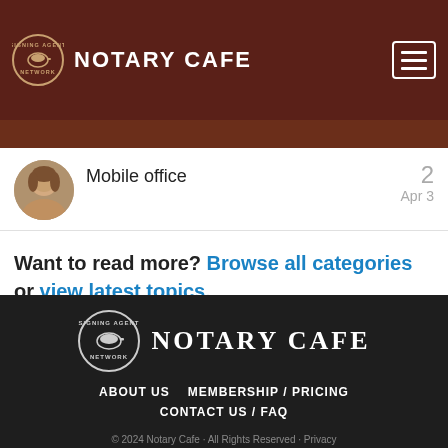NOTARY CAFE
Mobile office  2  Apr 3
Want to read more? Browse all categories or view latest topics.
NOTARY CAFE  ABOUT US  MEMBERSHIP / PRICING  CONTACT US / FAQ